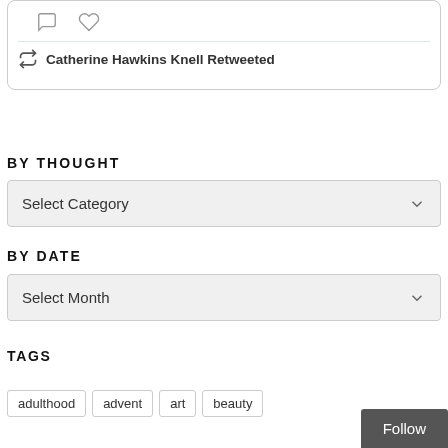[Figure (screenshot): Tweet card showing retweet and like icons, with 'Catherine Hawkins Knell Retweeted' text below]
BY THOUGHT
[Figure (screenshot): Dropdown selector showing 'Select Category']
BY DATE
[Figure (screenshot): Dropdown selector showing 'Select Month']
TAGS
adulthood
advent
art
beauty